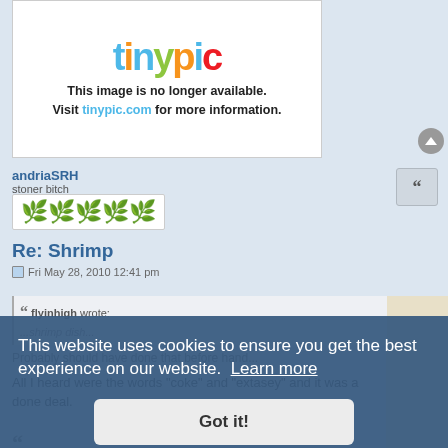[Figure (screenshot): Tinypic.com placeholder image showing the tinypic logo and message that the image is no longer available]
andriaSRH
stoner bitch
[Figure (illustration): Five green cannabis leaf emoji icons in a row]
Re: Shrimp
Fri May 28, 2010 12:41 pm
flyinhigh wrote:
...shrimp dish...
Probably should have done that before hand...

All I heard were the words "coke" and "extasey" and it was a done deal.
This website uses cookies to ensure you get the best experience on our website.  Learn more
Got it!